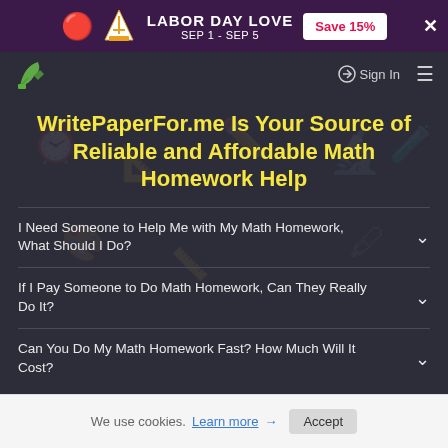LABOR DAY LOVE SEP 1 - SEP 5  Save 15%
[Figure (logo): WritePaperFor.me logo - green leaf/pencil icon]
Sign In
WritePaperFor.me Is Your Source of Reliable and Affordable Math Homework Help
I Need Someone to Help Me with My Math Homework, What Should I Do?
If I Pay Someone to Do Math Homework, Can They Really Do It?
Can You Do My Math Homework Fast? How Much Will It Cost?
We use cookies. Learn more → Accept